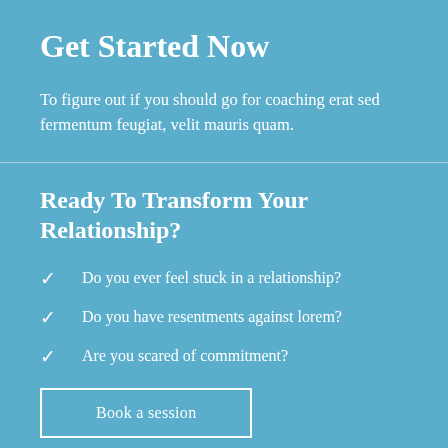Get Started Now
To figure out if you should go for coaching erat sed fermentum feugiat, velit mauris quam.
Ready To Transform Your Relationship?
Do you ever feel stuck in a relationship?
Do you have resentments against lorem?
Are you scared of commitment?
Book a session